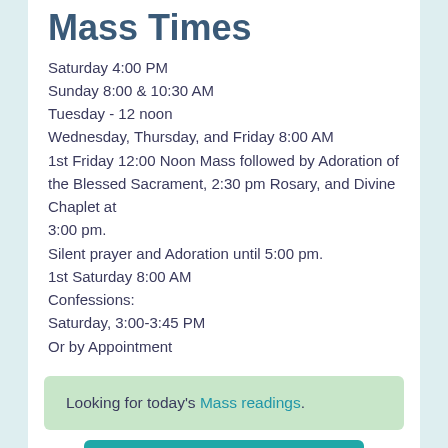Mass Times
Saturday 4:00 PM
Sunday 8:00 & 10:30 AM
Tuesday - 12 noon
Wednesday, Thursday, and Friday 8:00 AM
1st Friday 12:00 Noon Mass followed by Adoration of the Blessed Sacrament, 2:30 pm Rosary, and Divine Chaplet at 3:00 pm.
Silent prayer and Adoration until 5:00 pm.
1st Saturday 8:00 AM
Confessions:
Saturday, 3:00-3:45 PM
Or by Appointment
Looking for today's Mass readings.
Update Church Info »